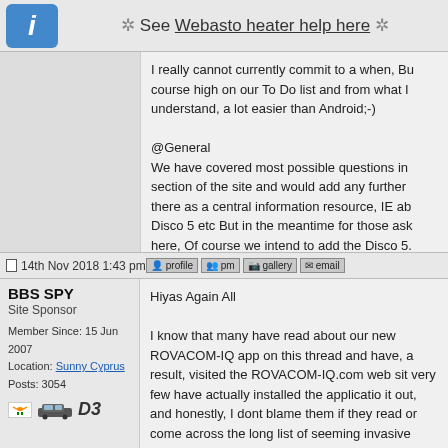❊ See Webasto heater help here ❊
I really cannot currently commit to a when, But it is of course high on our To Do list and from what I understand, a lot easier than Android;-)

@General
We have covered most possible questions in the FAQ section of the site and would add any further info there as a central information resource, IE about the Disco 5 etc But in the meantime for those asking here, Of course we intend to add the Disco 5.

Regards

Colin
14th Nov 2018 1:43 pm
BBS SPY
Site Sponsor
Member Since: 15 Jun 2007
Location: Sunny Cyprus
Posts: 3054
Hiyas Again All

I know that many have read about our new ROVACOM-IQ app on this thread and have, as a result, visited the ROVACOM-IQ.com web site, very few have actually installed the application to try it out, and honestly, I dont blame them if they read or come across the long list of seemingly invasive Permissions required as listed by the